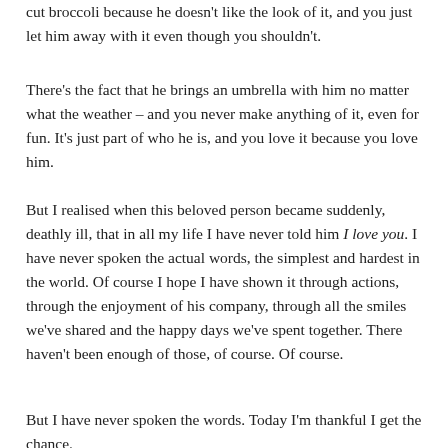cut broccoli because he doesn't like the look of it, and you just let him away with it even though you shouldn't.
There's the fact that he brings an umbrella with him no matter what the weather – and you never make anything of it, even for fun. It's just part of who he is, and you love it because you love him.
But I realised when this beloved person became suddenly, deathly ill, that in all my life I have never told him I love you. I have never spoken the actual words, the simplest and hardest in the world. Of course I hope I have shown it through actions, through the enjoyment of his company, through all the smiles we've shared and the happy days we've spent together. There haven't been enough of those, of course. Of course.
But I have never spoken the words. Today I'm thankful I get the chance.